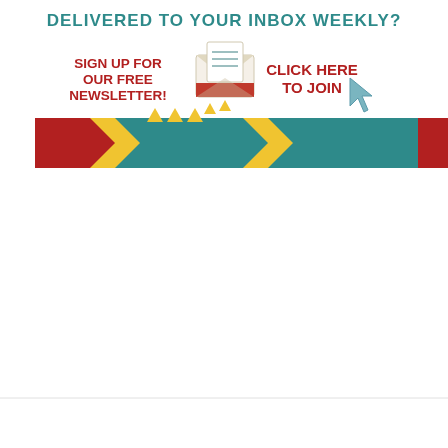[Figure (infographic): Newsletter signup banner with teal bold heading 'DELIVERED TO YOUR INBOX WEEKLY?', red bold text 'SIGN UP FOR OUR FREE NEWSLETTER!' on the left, an email envelope icon in the center, red bold text 'CLICK HERE TO JOIN' on the right with a cursor arrow, and decorative arrow banner at the bottom with yellow triangle patterns.]